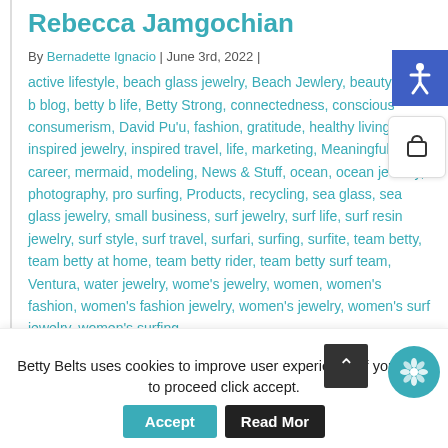Rebecca Jamgochian
By Bernadette Ignacio | June 3rd, 2022 | active lifestyle, beach glass jewelry, Beach Jewlery, beauty, betty b blog, betty b life, Betty Strong, connectedness, conscious consumerism, David Pu'u, fashion, gratitude, healthy living, inspired jewelry, inspired travel, life, marketing, Meaningful career, mermaid, modeling, News & Stuff, ocean, ocean jewelry, photography, pro surfing, Products, recycling, sea glass, sea glass jewelry, small business, surf jewelry, surf life, surf resin jewelry, surf style, surf travel, surfari, surfing, surfite, team betty, team betty at home, team betty rider, team betty surf team, Ventura, water jewelry, wome's jewelry, women, women's fashion, women's fashion jewelry, women's jewelry, women's surf jewelry, women's surfing
Betty Belts uses cookies to improve user experience, if you want to proceed click accept.